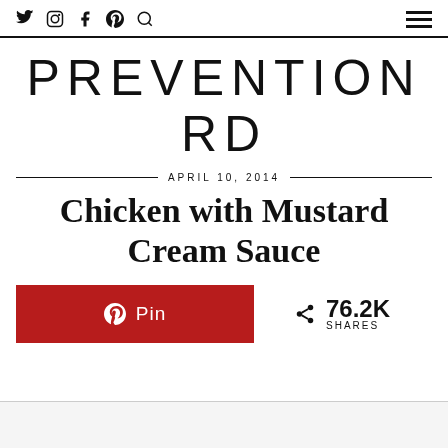Twitter Instagram Facebook Pinterest Search | Menu
PREVENTION RD
APRIL 10, 2014
Chicken with Mustard Cream Sauce
Pin | 76.2K SHARES